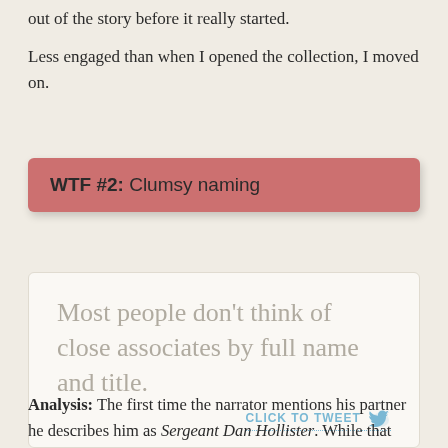out of the story before it really started.
Less engaged than when I opened the collection, I moved on.
WTF #2: Clumsy naming
Most people don't think of close associates by full name and title.
CLICK TO TWEET
Analysis: The first time the narrator mentions his partner he describes him as Sergeant Dan Hollister. While that would make sense when introducing him to a stranger, a